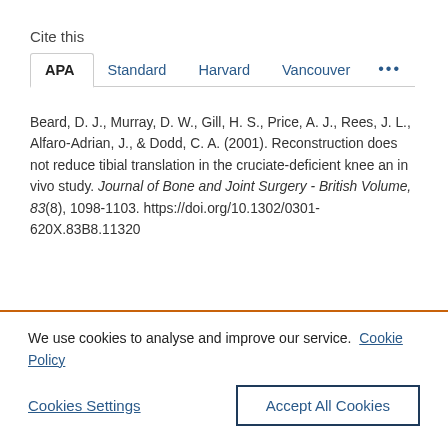Cite this
APA  Standard  Harvard  Vancouver  ...
Beard, D. J., Murray, D. W., Gill, H. S., Price, A. J., Rees, J. L., Alfaro-Adrian, J., & Dodd, C. A. (2001). Reconstruction does not reduce tibial translation in the cruciate-deficient knee an in vivo study. Journal of Bone and Joint Surgery - British Volume, 83(8), 1098-1103. https://doi.org/10.1302/0301-620X.83B8.11320
We use cookies to analyse and improve our service. Cookie Policy
Cookies Settings
Accept All Cookies